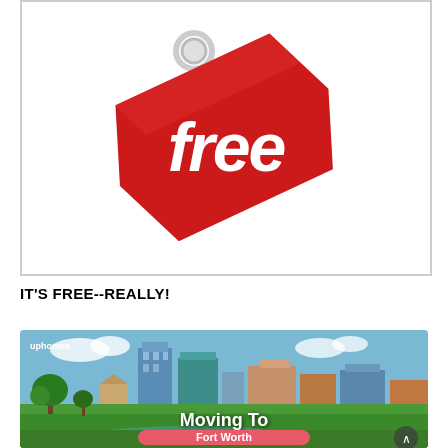[Figure (illustration): Red price tag graphic with white string/circle at top and bold white italic text reading 'free' on the tag body]
IT'S FREE--REALLY!
[Figure (photo): City skyline photo of Fort Worth, Texas with green park, river/pond reflection in foreground, blue skyscrapers in background. Uphomes logo in top-left corner. Text overlay reads 'Moving To' with a pink/red rounded button below reading 'Fort Worth'. Scroll-up button in bottom-right corner.]